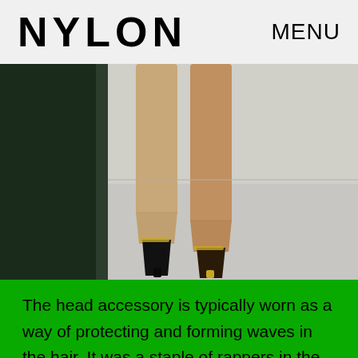NYLON   MENU
[Figure (photo): Close-up photo of a model's legs from behind walking on a runway in high-heeled shoes, shot from knee-down. Left side dark background, right side light/white background.]
The head accessory is typically worn as a way of protecting and forming waves in the hair. It was a staple of rappers in the early '90s and 2000s but has since then been banned by the NFL and NBA in 2001 and 2005 respectively. Even so, it's started